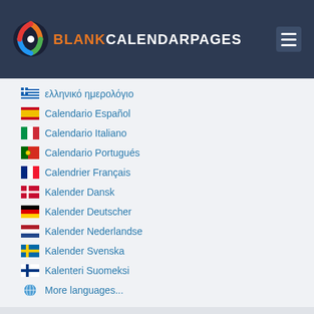BLANKCALENDARPAGES
ελληνικό ημερολόγιο
Calendario Español
Calendario Italiano
Calendario Portugués
Calendrier Français
Kalender Dansk
Kalender Deutscher
Kalender Nederlandse
Kalender Svenska
Kalenteri Suomeksi
More languages...